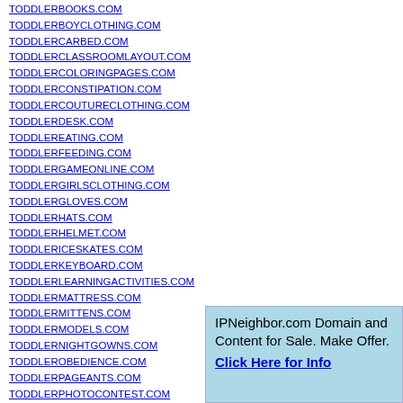TODDLERBOOKS.COM
TODDLERBOYCLOTHING.COM
TODDLERCARBED.COM
TODDLERCLASSROOMLAYOUT.COM
TODDLERCOLORINGPAGES.COM
TODDLERCONSTIPATION.COM
TODDLERCOUTURECLOTHING.COM
TODDLERDESK.COM
TODDLEREATING.COM
TODDLERFEEDING.COM
TODDLERGAMEONLINE.COM
TODDLERGIRLSCLOTHING.COM
TODDLERGLOVES.COM
TODDLERHATS.COM
TODDLERHELMET.COM
TODDLERICESKATES.COM
TODDLERKEYBOARD.COM
TODDLERLEARNINGACTIVITIES.COM
TODDLERMATTRESS.COM
TODDLERMITTENS.COM
TODDLERMODELS.COM
TODDLERNIGHTGOWNS.COM
TODDLEROBEDIENCE.COM
TODDLERPAGEANTS.COM
TODDLERPHOTOCONTEST.COM
TODDLERPILLOW.COM
TODDLERPONCHOS.COM
TODDLERRAINCOAT.COM
IPNeighbor.com Domain and Content for Sale. Make Offer. Click Here for Info